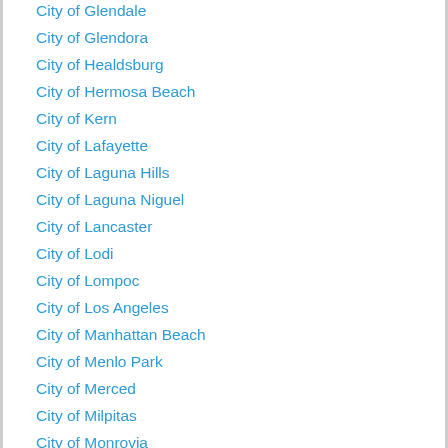City of Glendale
City of Glendora
City of Healdsburg
City of Hermosa Beach
City of Kern
City of Lafayette
City of Laguna Hills
City of Laguna Niguel
City of Lancaster
City of Lodi
City of Lompoc
City of Los Angeles
City of Manhattan Beach
City of Menlo Park
City of Merced
City of Milpitas
City of Monrovia
City of Mountain View